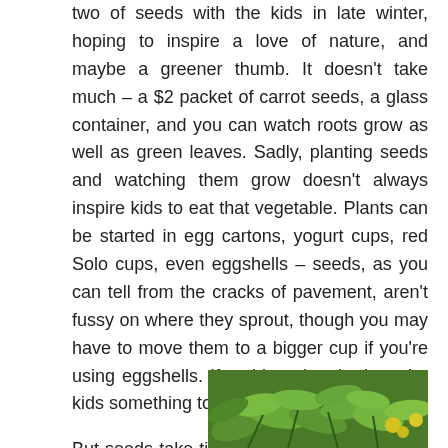two of seeds with the kids in late winter, hoping to inspire a love of nature, and maybe a greener thumb. It doesn't take much – a $2 packet of carrot seeds, a glass container, and you can watch roots grow as well as green leaves. Sadly, planting seeds and watching them grow doesn't always inspire kids to eat that vegetable. Plants can be started in egg cartons, yogurt cups, red Solo cups, even eggshells – seeds, as you can tell from the cracks of pavement, aren't fussy on where they sprout, though you may have to move them to a bigger cup if you're using eggshells. If nothing else, it gives the kids something to do on a dreary day.

But seeds take time, and kids aren't patient, so what are the easiest seeds to grow? The cheapskate in me says plant seeds for the
[Figure (photo): Photo of green leafy plants with yellow elements visible, partially shown in bottom right corner]